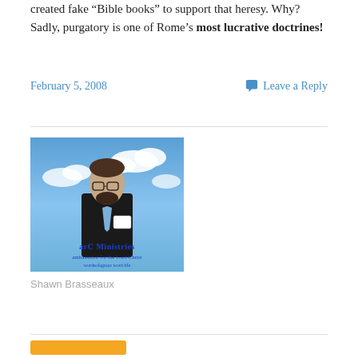created fake 'Bible books' to support that heresy. Why? Sadly, purgatory is one of Rome's most lucrative doctrines!
February 5, 2008
Leave a Reply
[Figure (photo): Photo of Shawn Brasseaux, a man in a dark suit with a blue tie, standing against a sky background. The image has 'arC Ministries - ambassador for the Lord Christ' text overlay at the bottom.]
Shawn Brasseaux